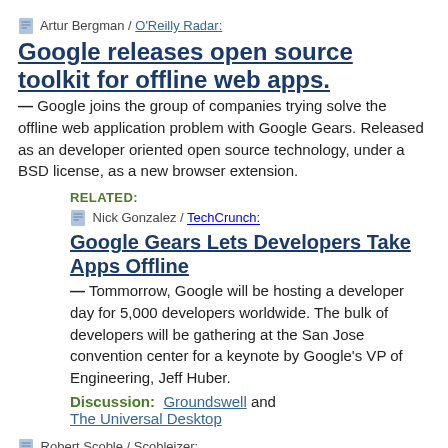Artur Bergman / O'Reilly Radar:
Google releases open source toolkit for offline web apps.
— Google joins the group of companies trying solve the offline web application problem with Google Gears.  Released as an developer oriented open source technology, under a BSD license, as a new browser extension.
RELATED:
Nick Gonzalez / TechCrunch:
Google Gears Lets Developers Take Apps Offline
— Tommorrow, Google will be hosting a developer day for 5,000 developers worldwide.  The bulk of developers will be gathering at the San Jose convention center for a keynote by Google's VP of Engineering, Jeff Huber.
Discussion:  Groundswell and The Universal Desktop
Robert Scoble / Scobleizer: